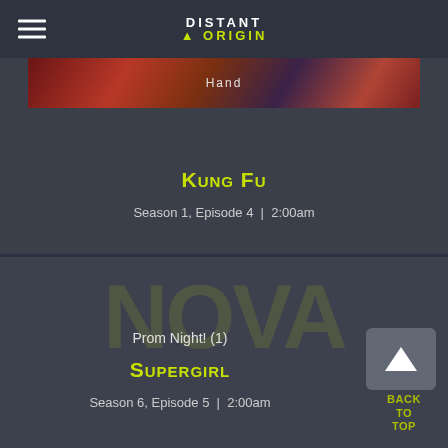DISTANT ORIGIN
[Figure (screenshot): Partial TV show thumbnail labeled 'Hand' with reddish-purple imagery]
Kung Fu
Season 1, Episode 4  |  2:00am
Prom Night! (1)
Supergirl
Season 6, Episode 5  |  2:00am